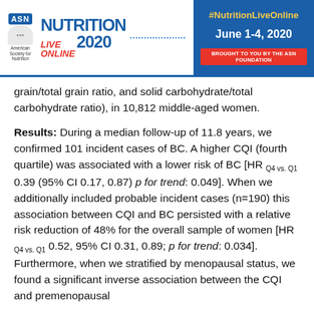#NutritionLiveOnline June 1-4, 2020 BROUGHT TO YOU BY THE ASN FOUNDATION
grain/total grain ratio, and solid carbohydrate/total carbohydrate ratio), in 10,812 middle-aged women.
Results: During a median follow-up of 11.8 years, we confirmed 101 incident cases of BC. A higher CQI (fourth quartile) was associated with a lower risk of BC [HR Q4 vs. Q1 0.39 (95% CI 0.17, 0.87) p for trend: 0.049]. When we additionally included probable incident cases (n=190) this association between CQI and BC persisted with a relative risk reduction of 48% for the overall sample of women [HR Q4 vs. Q1 0.52, 95% CI 0.31, 0.89; p for trend: 0.034]. Furthermore, when we stratified by menopausal status, we found a significant inverse association between the CQI and premenopausal